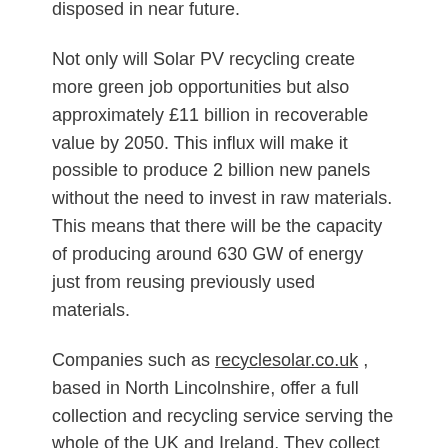disposed in near future.
Not only will Solar PV recycling create more green job opportunities but also approximately £11 billion in recoverable value by 2050. This influx will make it possible to produce 2 billion new panels without the need to invest in raw materials. This means that there will be the capacity of producing around 630 GW of energy just from reusing previously used materials.
Companies such as recyclesolar.co.uk , based in North Lincolnshire, offer a full collection and recycling service serving the whole of the UK and Ireland. They collect panels, inverters and batteries too for recycling. They can decommission, dismantle and recycle.
Thanks to constant solar equipment price drops of up to 80% in recent years, more and more households and businesses are choosing to invest in solar power systems.